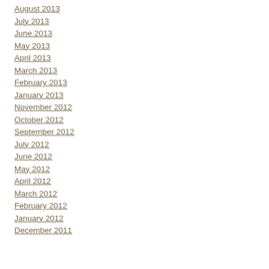August 2013
July 2013
June 2013
May 2013
April 2013
March 2013
February 2013
January 2013
November 2012
October 2012
September 2012
July 2012
June 2012
May 2012
April 2012
March 2012
February 2012
January 2012
December 2011